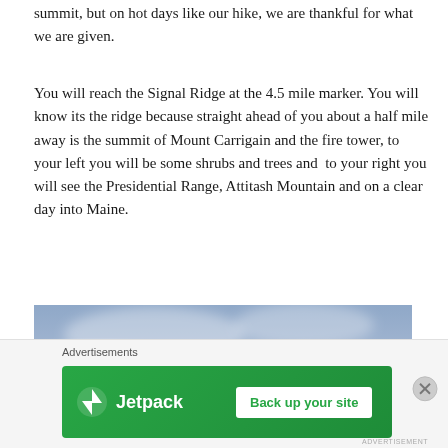summit, but on hot days like our hike, we are thankful for what we are given.
You will reach the Signal Ridge at the 4.5 mile marker. You will know its the ridge because straight ahead of you about a half mile away is the summit of Mount Carrigain and the fire tower, to your left you will be some shrubs and trees and  to your right you will see the Presidential Range, Attitash Mountain and on a clear day into Maine.
[Figure (photo): Partially visible photo showing a blue sky with soft clouds, appears to be taken outdoors on a hike.]
Advertisements
[Figure (other): Jetpack advertisement banner with green background showing Jetpack logo and 'Back up your site' button.]